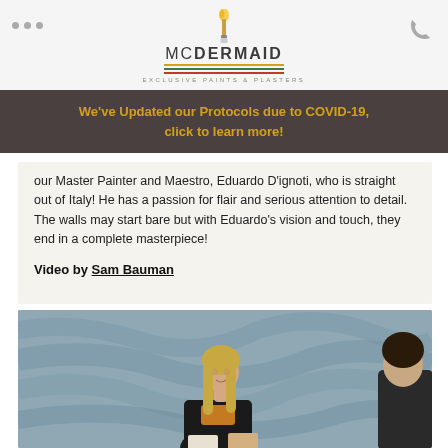McDermaid Exclusive Paints & Plasters
We've Updated our Protocols due to COVID-19, click to learn more!
our Master Painter and Maestro, Eduardo D'ignoti, who is straight out of Italy! He has a passion for flair and serious attention to detail. The walls may start bare but with Eduardo's vision and touch, they end in a complete masterpiece!
Video by Sam Bauman
[Figure (photo): A woman with long blonde hair wearing a black jacket and orange top, standing in front of a textured grey wall, with another person partially visible on the right.]